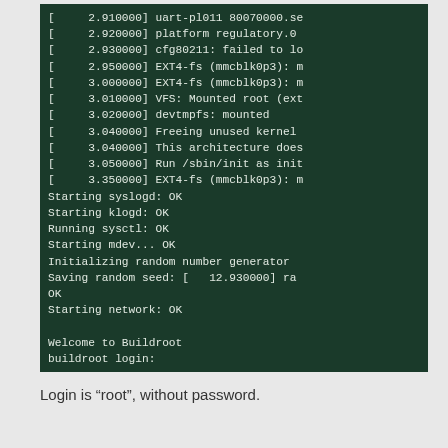[Figure (screenshot): Terminal/console screenshot showing Linux kernel boot messages and Buildroot startup sequence on a dark green background. Lines include kernel timestamps for uart-pl011, platform regulatory, cfg80211, EXT4-fs, VFS mount, devtmpfs, Freeing unused kernel, architecture note, Run /sbin/init, and EXT4-fs remount. Followed by system startup messages: Starting syslogd: OK, Starting klogd: OK, Running sysctl: OK, Starting mdev... OK, Initializing random number generator, Saving random seed with timestamp 12.930000, OK, Starting network: OK, then Welcome to Buildroot and buildroot login: prompt.]
Login is "root", without password.